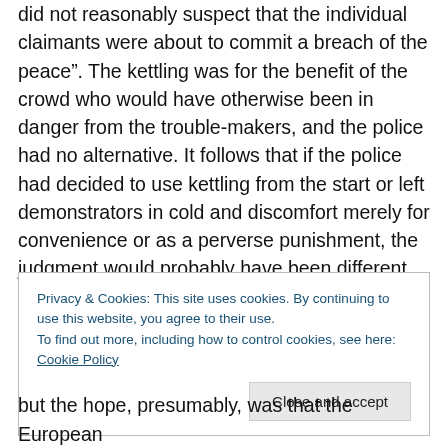did not reasonably suspect that the individual claimants were about to commit a breach of the peace”. The kettling was for the benefit of the crowd who would have otherwise been in danger from the trouble-makers, and the police had no alternative. It follows that if the police had decided to use kettling from the start or left demonstrators in cold and discomfort merely for convenience or as a perverse punishment, the judgment would probably have been different.
Privacy & Cookies: This site uses cookies. By continuing to use this website, you agree to their use. To find out more, including how to control cookies, see here: Cookie Policy
but the hope, presumably, was that the European